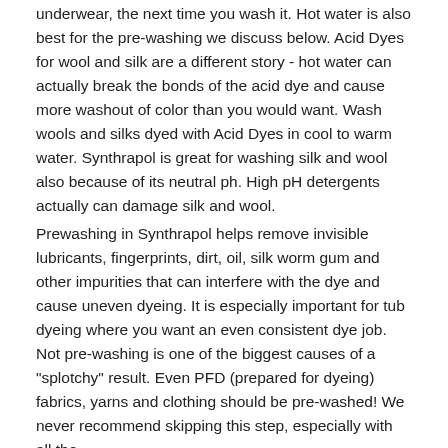underwear, the next time you wash it. Hot water is also best for the pre-washing we discuss below. Acid Dyes for wool and silk are a different story - hot water can actually break the bonds of the acid dye and cause more washout of color than you would want. Wash wools and silks dyed with Acid Dyes in cool to warm water. Synthrapol is great for washing silk and wool also because of its neutral ph. High pH detergents actually can damage silk and wool.
Prewashing in Synthrapol helps remove invisible lubricants, fingerprints, dirt, oil, silk worm gum and other impurities that can interfere with the dye and cause uneven dyeing. It is especially important for tub dyeing where you want an even consistent dye job. Not pre-washing is one of the biggest causes of a "splotchy" result. Even PFD (prepared for dyeing) fabrics, yarns and clothing should be pre-washed! We never recommend skipping this step, especially with all the